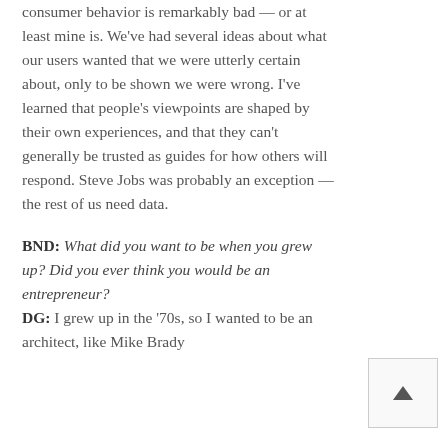consumer behavior is remarkably bad — or at least mine is. We've had several ideas about what our users wanted that we were utterly certain about, only to be shown we were wrong. I've learned that people's viewpoints are shaped by their own experiences, and that they can't generally be trusted as guides for how others will respond. Steve Jobs was probably an exception — the rest of us need data.
BND: What did you want to be when you grew up? Did you ever think you would be an entrepreneur? DG: I grew up in the '70s, so I wanted to be an architect, like Mike Brady